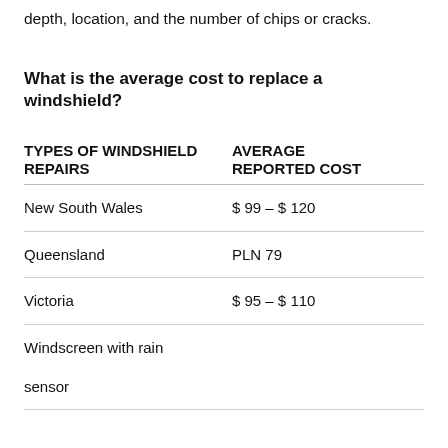depth, location, and the number of chips or cracks.
What is the average cost to replace a windshield?
| TYPES OF WINDSHIELD REPAIRS | AVERAGE REPORTED COST |
| --- | --- |
| New South Wales | $ 99 – $ 120 |
| Queensland | PLN 79 |
| Victoria | $ 95 – $ 110 |
| Windscreen with rain sensor |  |